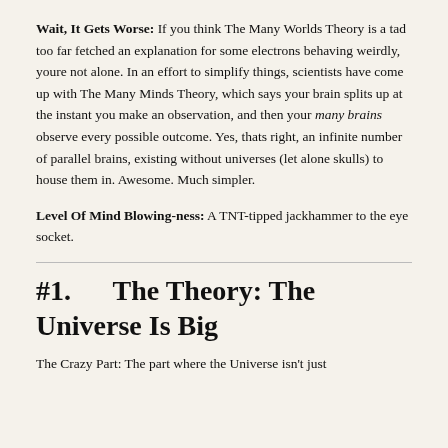Wait, It Gets Worse: If you think The Many Worlds Theory is a tad too far fetched an explanation for some electrons behaving weirdly, youre not alone. In an effort to simplify things, scientists have come up with The Many Minds Theory, which says your brain splits up at the instant you make an observation, and then your many brains observe every possible outcome. Yes, thats right, an infinite number of parallel brains, existing without universes (let alone skulls) to house them in. Awesome. Much simpler.
Level Of Mind Blowing-ness: A TNT-tipped jackhammer to the eye socket.
#1.     The Theory: The Universe Is Big
The Crazy Part: The part where the Universe isn't just